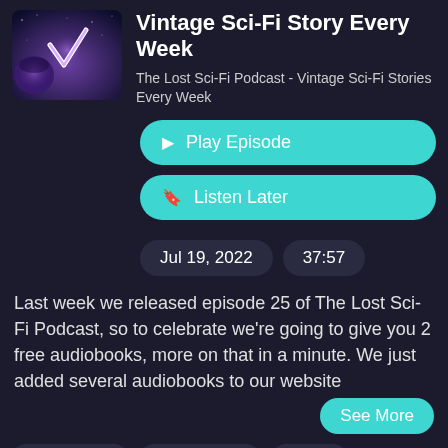[Figure (illustration): Podcast artwork showing a purple/blue space scene with a planet and a glowing V-shaped checkmark symbol]
Vintage Sci-Fi Story Every Week
The Lost Sci-Fi Podcast - Vintage Sci-Fi Stories Every Week
▶ Play Episode
🔖 Listen Later
Jul 19, 2022
37:57
Last week we released episode 25 of The Lost Sci-Fi Podcast, so to celebrate we're going to give you 2 free audiobooks, more on that in a minute. We just added several audiobooks to our website
See More
# new jersey
# world war ii
# sci fi